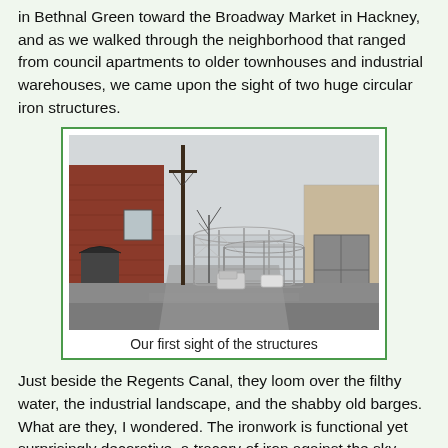in Bethnal Green toward the Broadway Market in Hackney, and as we walked through the neighborhood that ranged from council apartments to older townhouses and industrial warehouses, we came upon the sight of two huge circular iron structures.
[Figure (photo): Street-level photograph of two large circular iron gasometer structures visible at the end of a narrow urban alleyway. Red brick buildings on the left, industrial units on the right, overcast winter sky, bare trees and telegraph poles.]
Our first sight of the structures
Just beside the Regents Canal, they loom over the filthy water, the industrial landscape, and the shabby old barges. What are they, I wondered. The ironwork is functional yet surprisingly decorative, a tracery of iron against the sky. They looked very 19th century, and very "steampunk."